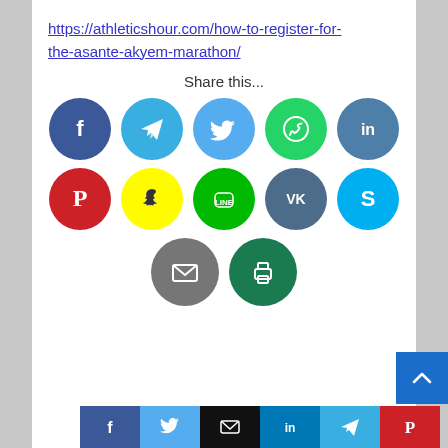https://athleticshour.com/how-to-register-for-the-asante-akyem-marathon/
Share this...
[Figure (infographic): Two rows of social media share buttons as colored circles: Facebook (dark blue), Telegram (light blue), Twitter (sky blue), WhatsApp (green), LinkedIn (steel blue); Pinterest (red), Snapchat (yellow), Line (green), VK (slate blue), Skype (light blue). Below: Email (gray) and Print (dark green) circles. At bottom: a bar of small square share buttons for Facebook, Twitter, Email, LinkedIn, Telegram, Pinterest.]